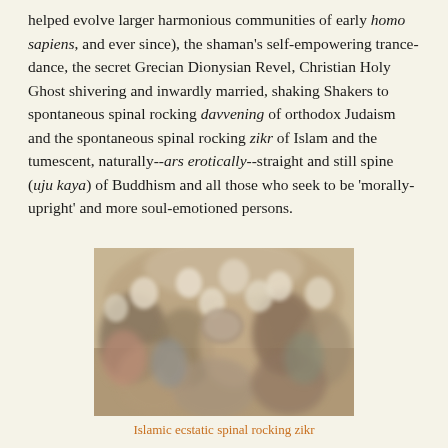helped evolve larger harmonious communities of early homo sapiens, and ever since), the shaman's self-empowering trance-dance, the secret Grecian Dionysian Revel, Christian Holy Ghost shivering and inwardly married, shaking Shakers to spontaneous spinal rocking davvening of orthodox Judaism and the spontaneous spinal rocking zikr of Islam and the tumescent, naturally--ars erotically--straight and still spine (uju kaya) of Buddhism and all those who seek to be 'morally-upright' and more soul-emotioned persons.
[Figure (photo): A blurred photograph of a group of people engaged in Islamic ecstatic spinal rocking zikr, viewed from above. People are wearing white caps and traditional clothing, moving in a circular or group formation.]
Islamic ecstatic spinal rocking zikr